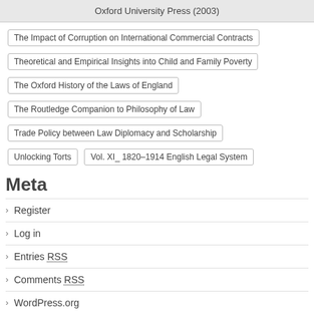Oxford University Press (2003)
The Impact of Corruption on International Commercial Contracts
Theoretical and Empirical Insights into Child and Family Poverty
The Oxford History of the Laws of England
The Routledge Companion to Philosophy of Law
Trade Policy between Law Diplomacy and Scholarship
Unlocking Torts
Vol. XI_ 1820–1914 English Legal System
Meta
Register
Log in
Entries RSS
Comments RSS
WordPress.org